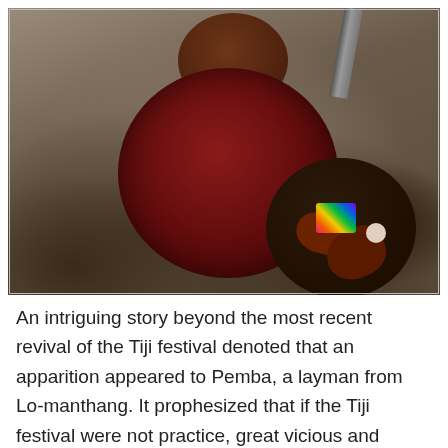[Figure (photo): A top-down photograph of ritual offering bowls/plates containing colorful decorative items, leaves, and organic materials, placed on rocky ground. A metal bar is visible in the upper right.]
An intriguing story beyond the most recent revival of the Tiji festival denoted that an apparition appeared to Pemba, a layman from Lo-manthang. It prophesized that if the Tiji festival were not practice, great vicious and suffering would occur Lo.
The Plague would increase in the area, and there